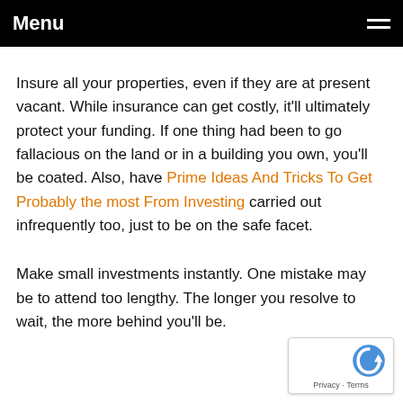Menu
Insure all your properties, even if they are at present vacant. While insurance can get costly, it'll ultimately protect your funding. If one thing had been to go fallacious on the land or in a building you own, you'll be coated. Also, have Prime Ideas And Tricks To Get Probably the most From Investing carried out infrequently too, just to be on the safe facet.
Make small investments instantly. One mistake may be to attend too lengthy. The longer you resolve to wait, the more behind you'll be.